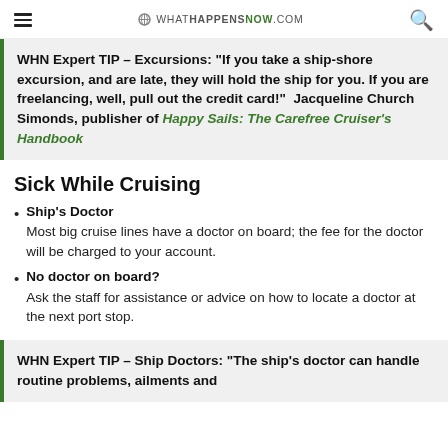WHATHAPPENSNOW.COM
WHN Expert TIP – Excursions: "If you take a ship-shore excursion, and are late, they will hold the ship for you. If you are freelancing, well, pull out the credit card!" Jacqueline Church Simonds, publisher of Happy Sails: The Carefree Cruiser's Handbook
Sick While Cruising
Ship's Doctor — Most big cruise lines have a doctor on board; the fee for the doctor will be charged to your account.
No doctor on board? — Ask the staff for assistance or advice on how to locate a doctor at the next port stop.
WHN Expert TIP – Ship Doctors: "The ship's doctor can handle routine problems, ailments and